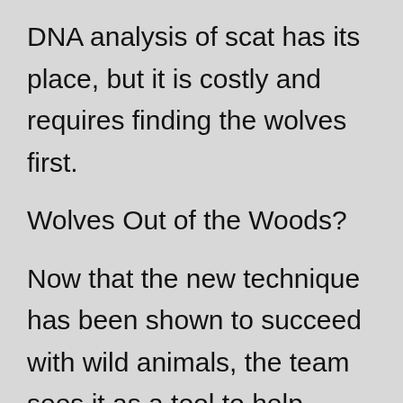DNA analysis of scat has its place, but it is costly and requires finding the wolves first.
Wolves Out of the Woods?
Now that the new technique has been shown to succeed with wild animals, the team sees it as a tool to help conserve wolves in their natural habitats. (See more wolf pictures.)